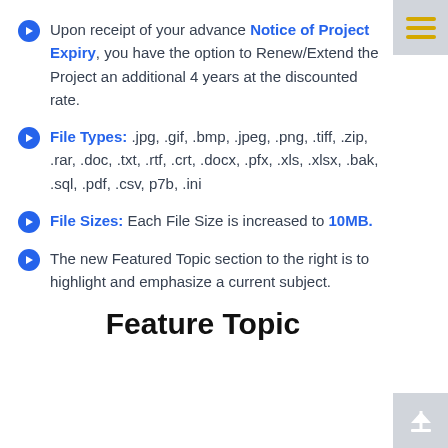Upon receipt of your advance Notice of Project Expiry, you have the option to Renew/Extend the Project an additional 4 years at the discounted rate.
File Types: .jpg, .gif, .bmp, .jpeg, .png, .tiff, .zip, .rar, .doc, .txt, .rtf, .crt, .docx, .pfx, .xls, .xlsx, .bak, .sql, .pdf, .csv, p7b, .ini
File Sizes: Each File Size is increased to 10MB.
The new Featured Topic section to the right is to highlight and emphasize a current subject.
Feature Topic